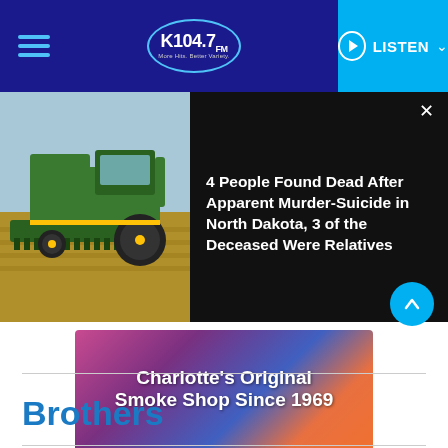K104.7 FM — Navigation bar with hamburger menu, K104.7 FM logo, and LISTEN button
[Figure (photo): Green John Deere combine harvester in a field with blue sky background]
4 People Found Dead After Apparent Murder-Suicide in North Dakota, 3 of the Deceased Were Relatives
[Figure (infographic): Advertisement banner: Charlotte's Original Smoke Shop Since 1969 — VISIT INFINITYSEND.COM]
Brothers